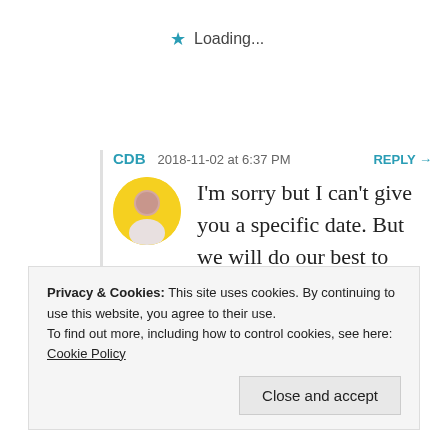★ Loading...
CDB   2018-11-02 at 6:37 PM   REPLY →
I'm sorry but I can't give you a specific date. But we will do our best to complete it as soon as possible.
★ Loading...
Privacy & Cookies: This site uses cookies. By continuing to use this website, you agree to their use.
To find out more, including how to control cookies, see here: Cookie Policy
Close and accept